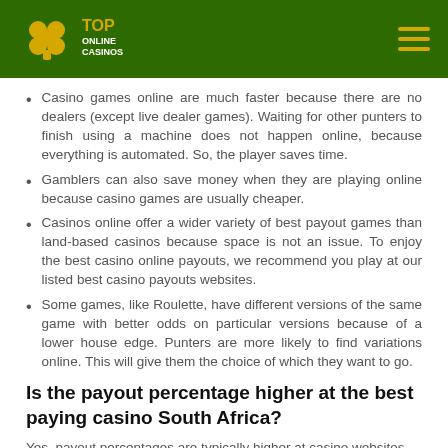[Figure (logo): Top Online Casinos logo with green background, gold clover icon and text]
Casino games online are much faster because there are no dealers (except live dealer games). Waiting for other punters to finish using a machine does not happen online, because everything is automated. So, the player saves time.
Gamblers can also save money when they are playing online because casino games are usually cheaper.
Casinos online offer a wider variety of best payout games than land-based casinos because space is not an issue. To enjoy the best casino online payouts, we recommend you play at our listed best casino payouts websites.
Some games, like Roulette, have different versions of the same game with better odds on particular versions because of a lower house edge. Punters are more likely to find variations online. This will give them the choice of which they want to go.
Is the payout percentage higher at the best paying casino South Africa?
Yes, payout percentages are typically higher at casino websites